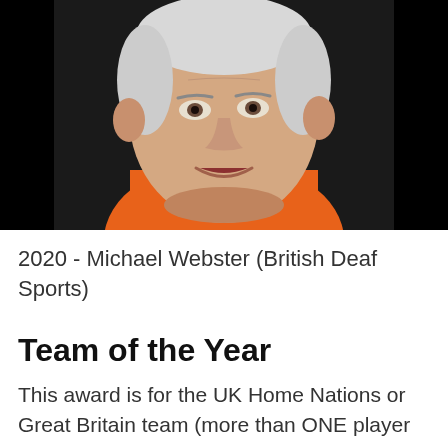[Figure (photo): Portrait photo of an elderly man with white hair wearing an orange polo shirt, smiling, against a dark background.]
2020 - Michael Webster (British Deaf Sports)
Team of the Year
This award is for the UK Home Nations or Great Britain team (more than ONE player in a team) which has achieved the most